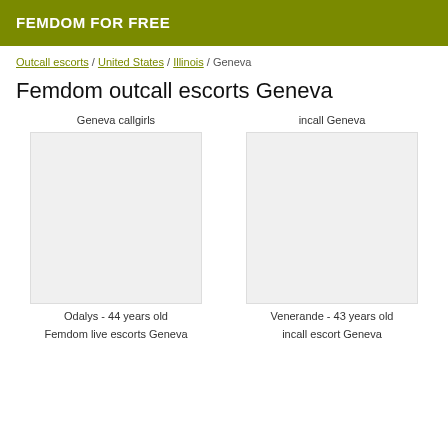FEMDOM FOR FREE
Outcall escorts / United States / Illinois / Geneva
Femdom outcall escorts Geneva
Geneva callgirls
incall Geneva
Odalys - 44 years old
Venerande - 43 years old
Femdom live escorts Geneva
incall escort Geneva